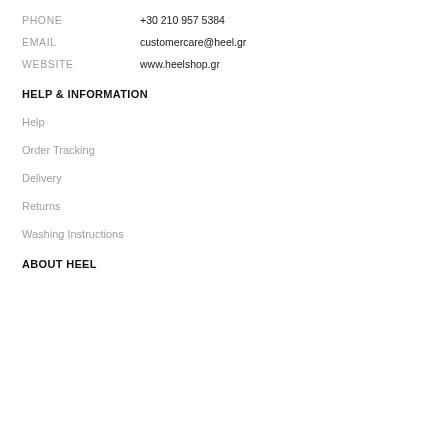PHONE  +30 210 957 5384
EMAIL  customercare@heel.gr
WEBSITE  www.heelshop.gr
HELP & INFORMATION
Help
Order Tracking
Delivery
Returns
Washing Instructions
ABOUT HEEL